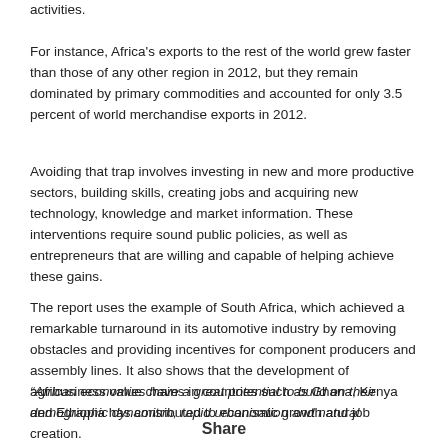activities.
For instance, Africa's exports to the rest of the world grew faster than those of any other region in 2012, but they remain dominated by primary commodities and accounted for only 3.5 percent of world merchandise exports in 2012.
Avoiding that trap involves investing in new and more productive sectors, building skills, creating jobs and acquiring new technology, knowledge and market information. These interventions require sound public policies, as well as entrepreneurs that are willing and capable of helping achieve these gains.
The report uses the example of South Africa, which achieved a remarkable turnaround in its automotive industry by removing obstacles and providing incentives for component producers and assembly lines. It also shows that the development of agribusiness value chains in countries such as Ghana, Kenya and Ethiopia has contributed to economic growth and job creation.
“African economies have a great potential to build on their demographic dynamism, rapid urbanisation and natural resources assets. The
Share